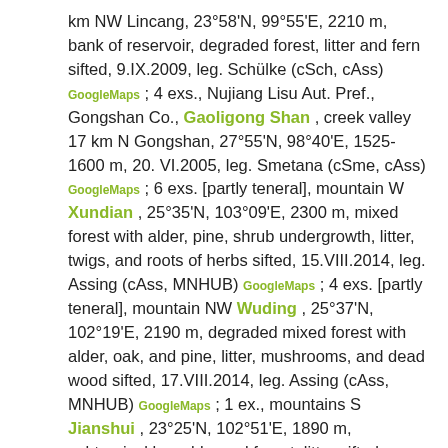km NW Lincang, 23°58'N, 99°55'E, 2210 m, bank of reservoir, degraded forest, litter and fern sifted, 9.IX.2009, leg. Schülke (cSch, cAss) GoogleMaps ; 4 exs., Nujiang Lisu Aut. Pref., Gongshan Co., Gaoligong Shan , creek valley 17 km N Gongshan, 27°55'N, 98°40'E, 1525-1600 m, 20. VI.2005, leg. Smetana (cSme, cAss) GoogleMaps ; 6 exs. [partly teneral], mountain W Xundian , 25°35'N, 103°09'E, 2300 m, mixed forest with alder, pine, shrub undergrowth, litter, twigs, and roots of herbs sifted, 15.VIII.2014, leg. Assing (cAss, MNHUB) GoogleMaps ; 4 exs. [partly teneral], mountain NW Wuding , 25°37'N, 102°19'E, 2190 m, degraded mixed forest with alder, oak, and pine, litter, mushrooms, and dead wood sifted, 17.VIII.2014, leg. Assing (cAss, MNHUB) GoogleMaps ; 1 ex., mountains S Jianshui , 23°25'N, 102°51'E, 1890 m, subtropical broad-leaved forest, litter sifted, 22.VIII.2014, leg. Assing (cAss) GoogleMaps ; 35 exs. [partly teneral], mountain W Gejiu , 23°24'N, 103°07'E, 1990 m, mixed forest, litter and various